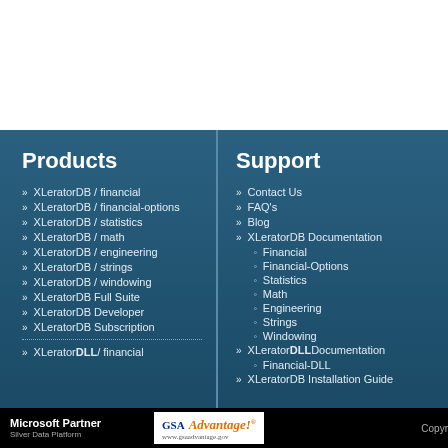Products
XLeratorDB / financial
XLeratorDB / financial-options
XLeratorDB / statistics
XLeratorDB / math
XLeratorDB / engineering
XLeratorDB / strings
XLeratorDB / windowing
XLeratorDB Full Suite
XLeratorDB Developer
XLeratorDB Subscription
XleratorDLL / financial
Support
Contact Us
FAQ's
Blog
XLeratorDB Documentation
Financial
Financial-Options
Statistics
Math
Engineering
Strings
Windowing
XLeratorDLL Documentation
Financial-DLL
XLeratorDB Installation Guide
Microsoft Partner Silver Data Platform | GSA Advantage! | Copyr